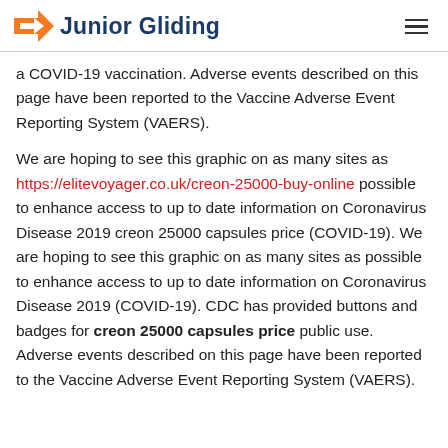Junior Gliding
a COVID-19 vaccination. Adverse events described on this page have been reported to the Vaccine Adverse Event Reporting System (VAERS).
We are hoping to see this graphic on as many sites as https://elitevoyager.co.uk/creon-25000-buy-online possible to enhance access to up to date information on Coronavirus Disease 2019 creon 25000 capsules price (COVID-19). We are hoping to see this graphic on as many sites as possible to enhance access to up to date information on Coronavirus Disease 2019 (COVID-19). CDC has provided buttons and badges for creon 25000 capsules price public use. Adverse events described on this page have been reported to the Vaccine Adverse Event Reporting System (VAERS).